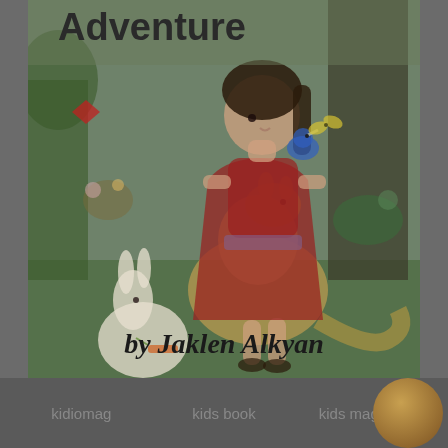Adventure
[Figure (illustration): Children's book cover illustration showing a girl in a red dress with a blue parrot on her shoulder, surrounded by animals including a rabbit and a kangaroo, with tropical plants and trees in a garden setting. The image has a warm, muted color palette.]
by Jaklen Alkyan
kidiomag    kids book    kids magazine